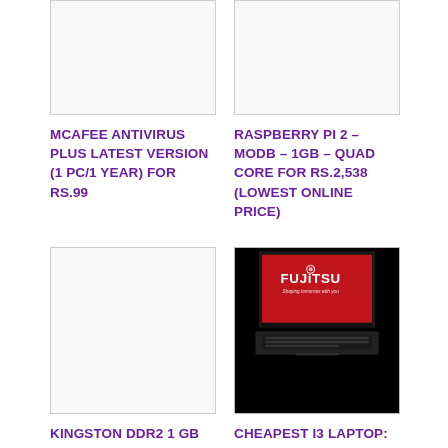[Figure (photo): Product image placeholder for McAfee Antivirus Plus]
MCAFEE ANTIVIRUS PLUS LATEST VERSION (1 PC/1 YEAR) FOR RS.99
[Figure (photo): Product image placeholder for Raspberry Pi 2]
RASPBERRY PI 2 – MODB – 1GB – QUAD CORE FOR RS.2,538 (LOWEST ONLINE PRICE)
[Figure (photo): Product image placeholder for Kingston DDR2 RAM]
KINGSTON DDR2 1 GB PC RAM ONLY AT RS 399
[Figure (photo): Photo of Fujitsu Lifebook A555 laptop with red screen showing Fujitsu logo and tagline 'Shaping tomorrow with you']
CHEAPEST I3 LAPTOP: FUJITSU LIFEBOOK A555